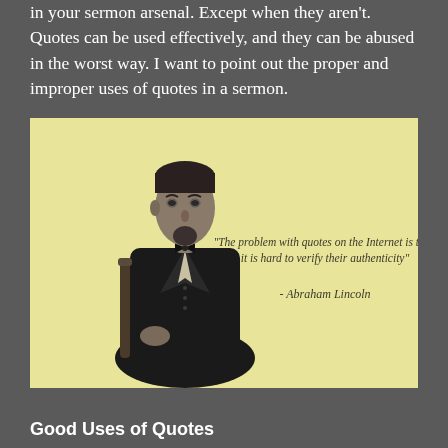in your sermon arsenal. Except when they aren't. Quotes can be used effectively, and they can be abused in the worst way. I want to point out the proper and improper uses of quotes in a sermon.
[Figure (illustration): Yellow-background image of Abraham Lincoln seated, with a humorous fake quote: 'The problem with quotes on the Internet is that it is hard to verify their authenticity' - Abraham Lincoln]
Good Uses of Quotes